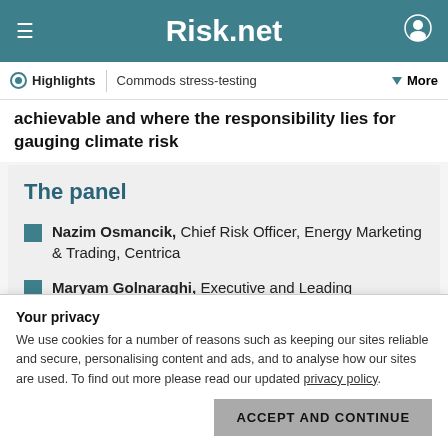Risk.net
Highlights | Commods stress-testing | More
achievable and where the responsibility lies for gauging climate risk
The panel
Nazim Osmancik, Chief Risk Officer, Energy Marketing & Trading, Centrica
Maryam Golnaraghi, Executive and Leading
Your privacy
We use cookies for a number of reasons such as keeping our sites reliable and secure, personalising content and ads, and to analyse how our sites are used. To find out more please read our updated privacy policy.
ACCEPT AND CONTINUE